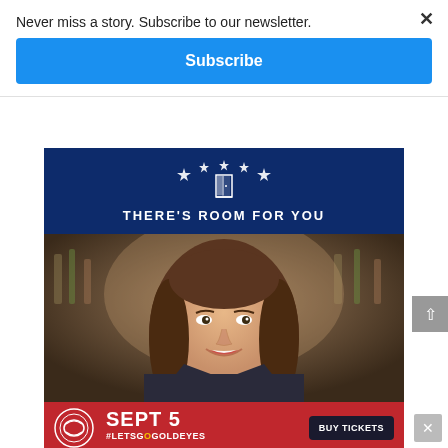Never miss a story. Subscribe to our newsletter.
Subscribe
[Figure (infographic): Dark blue banner with stars and open door icon, text 'THERE'S ROOM FOR YOU']
[Figure (photo): Smiling young woman with long brown hair in a bar/restaurant setting]
[Figure (infographic): Red banner ad: Sept 5 #LetsGoGoldEyes with BUY TICKETS button and Goldeyes logo]